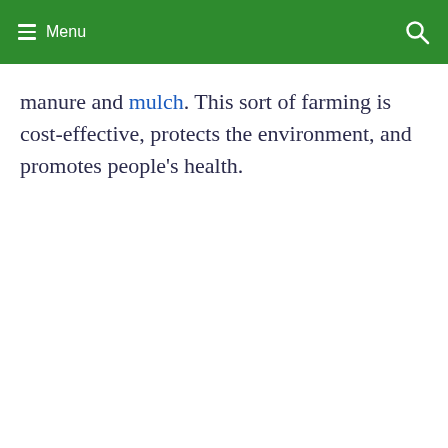Menu
manure and mulch. This sort of farming is cost-effective, protects the environment, and promotes people’s health.